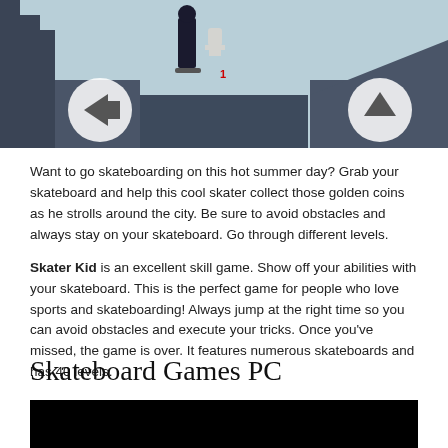[Figure (screenshot): Screenshot of a skateboarding video game showing a dark cityscape level with a skater character, navigation arrows (right arrow on left side, up arrow on right side), and a small red indicator in the center.]
Want to go skateboarding on this hot summer day? Grab your skateboard and help this cool skater collect those golden coins as he strolls around the city. Be sure to avoid obstacles and always stay on your skateboard. Go through different levels.
Skater Kid is an excellent skill game. Show off your abilities with your skateboard. This is the perfect game for people who love sports and skateboarding! Always jump at the right time so you can avoid obstacles and execute your tricks. Once you've missed, the game is over. It features numerous skateboards and has 40 levels.
Skateboard Games PC
[Figure (screenshot): Black screenshot/video area below the Skateboard Games PC heading.]